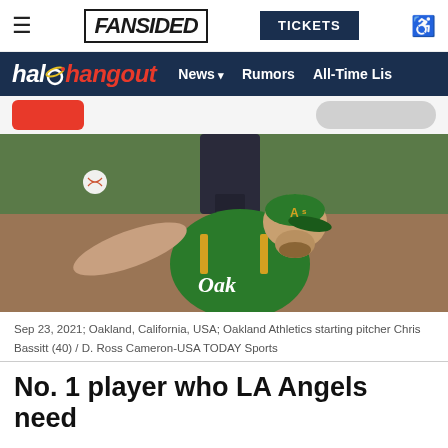FanSided | TICKETS
halo hangout | News | Rumors | All-Time Lis
[Figure (photo): Oakland Athletics starting pitcher Chris Bassitt (40) throwing a pitch, wearing green Oakland A's uniform and cap, outdoor baseball field background.]
Sep 23, 2021; Oakland, California, USA; Oakland Athletics starting pitcher Chris Bassitt (40) / D. Ross Cameron-USA TODAY Sports
No. 1 player who LA Angels need